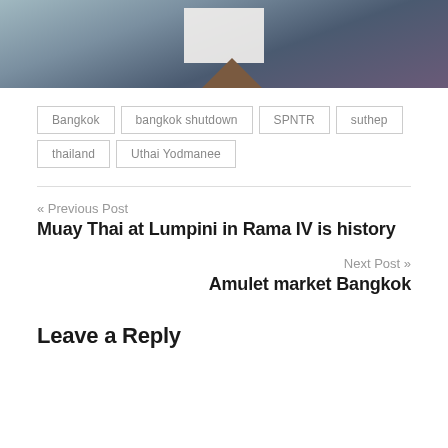[Figure (photo): A cropped photo showing an outdoor scene with a white rectangular sign/flag on a pole, trees, and figures in the background with blue-tinted tones.]
Bangkok
bangkok shutdown
SPNTR
suthep
thailand
Uthai Yodmanee
« Previous Post
Muay Thai at Lumpini in Rama IV is history
Next Post »
Amulet market Bangkok
Leave a Reply